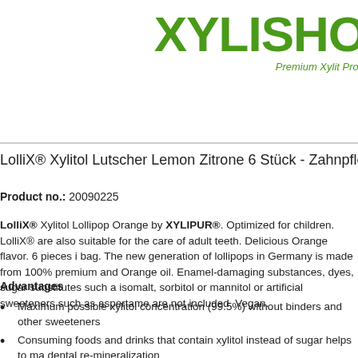[Figure (logo): XYLISHO logo in bold green with tagline 'Premium Xylit Prod']
LolliX® Xylitol Lutscher Lemon Zitrone 6 Stück - Zahnpfle
Product no.: 20090225
LolliX® Xylitol Lollipop Orange by XYLIPUR®. Optimized for children. LolliX® are also suitable for the care of adult teeth. Delicious Orange flavor. 6 pieces in bag. The new generation of lollipops in Germany is made from 100% premium and Orange oil. Enamel-damaging substances, dyes, sugar substitutes such as isomalt, sorbitol or mannitol or artificial sweeteners such as aspertame are not included. Vegan.
Advantages
Maximum possible xylitol concentration (99.5%) without binders and other sweeteners
Consuming foods and drinks that contain xylitol instead of sugar helps to maintain dental re-mineralization
delicious recipe with Orange oil from controlled cultivation